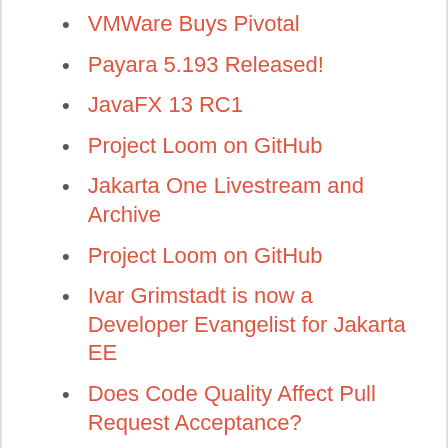VMWare Buys Pivotal
Payara 5.193 Released!
JavaFX 13 RC1
Project Loom on GitHub
Jakarta One Livestream and Archive
Project Loom on GitHub
Ivar Grimstadt is now a Developer Evangelist for Jakarta EE
Does Code Quality Affect Pull Request Acceptance?